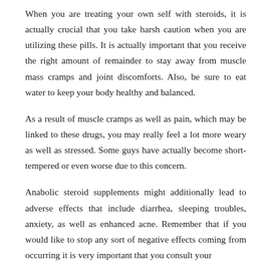When you are treating your own self with steroids, it is actually crucial that you take harsh caution when you are utilizing these pills. It is actually important that you receive the right amount of remainder to stay away from muscle mass cramps and joint discomforts. Also, be sure to eat water to keep your body healthy and balanced.
As a result of muscle cramps as well as pain, which may be linked to these drugs, you may really feel a lot more weary as well as stressed. Some guys have actually become short-tempered or even worse due to this concern.
Anabolic steroid supplements might additionally lead to adverse effects that include diarrhea, sleeping troubles, anxiety, as well as enhanced acne. Remember that if you would like to stop any sort of negative effects coming from occurring it is very important that you consult your